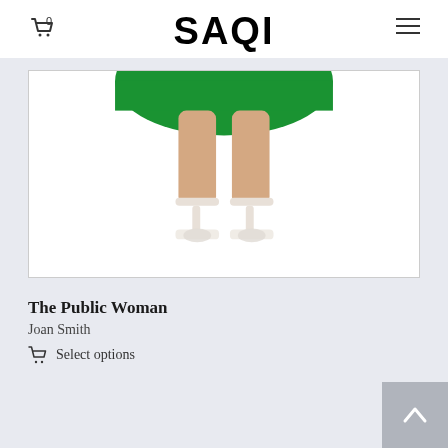SAQI
[Figure (photo): Product photo showing the lower half of a person wearing a green skirt/dress and white strappy high-heeled sandals, on a white background inside a framed box]
The Public Woman
Joan Smith
Select options